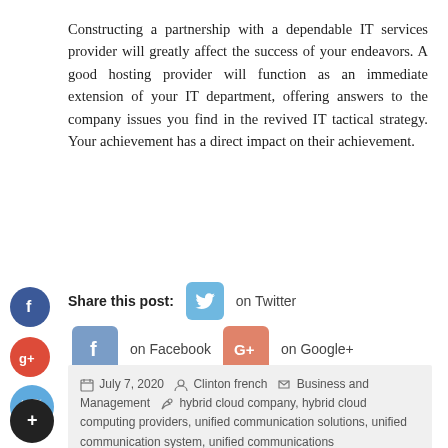Constructing a partnership with a dependable IT services provider will greatly affect the success of your endeavors. A good hosting provider will function as an immediate extension of your IT department, offering answers to the company issues you find in the revived IT tactical strategy. Your achievement has a direct impact on their achievement.
Share this post: on Twitter on Facebook on Google+
July 7, 2020  Clinton french  Business and Management  hybrid cloud company, hybrid cloud computing providers, unified communication solutions, unified communication system, unified communications